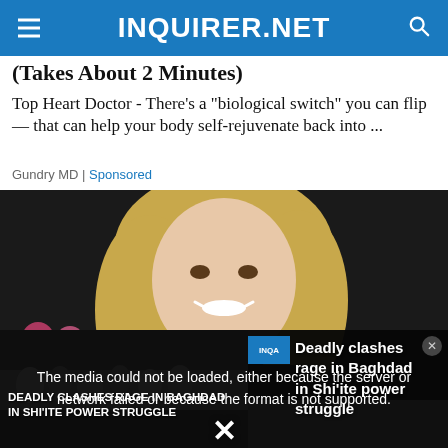INQUIRER.NET
(Takes About 2 Minutes)
Top Heart Doctor - There’s a “biological switch” you can flip — that can help your body self-rejuvenate back into ...
Gundry MD | Sponsored
[Figure (photo): Blonde woman smiling against dark background]
[Figure (screenshot): Video player overlay with error message: The media could not be loaded, either because the server or network failed or because the format is not supported. Overlapping news ticker showing 'Deadly clashes rage in Baghdad in Shi'ite power struggle'. Bottom left shows news image with text 'DEADLY CLASHES RAGE IN BAGHDAD IN SHI'ITE POWER STRUGGLE'.]